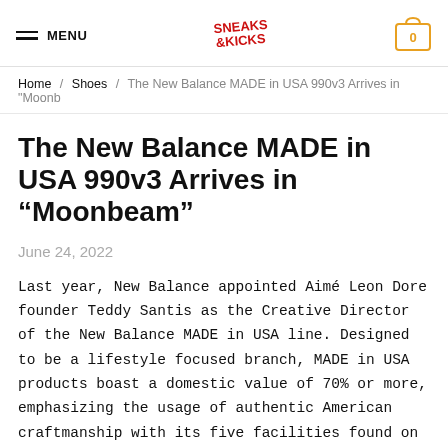MENU | Sneaks & Kicks logo | 0
Home / Shoes / The New Balance MADE in USA 990v3 Arrives in "Moonb
The New Balance MADE in USA 990v3 Arrives in “Moonbeam”
June 24, 2022
Last year, New Balance appointed Aimé Leon Dore founder Teddy Santis as the Creative Director of the New Balance MADE in USA line. Designed to be a lifestyle focused branch, MADE in USA products boast a domestic value of 70% or more, emphasizing the usage of authentic American craftmanship with its five facilities found on the East Coast. Now, following up on the initial Santis-designed collection, his line gives the 990v3 a fresh “Moonbeam” colorway.In “Moonbeam,” the MADE in USA 990v3 utilizes a